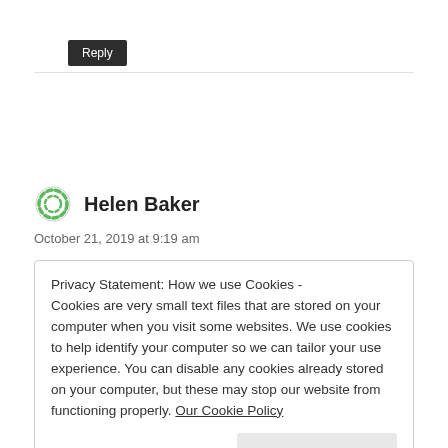Reply
Helen Baker
October 21, 2019 at 9:19 am
Privacy Statement: How we use Cookies - Cookies are very small text files that are stored on your computer when you visit some websites. We use cookies to help identify your computer so we can tailor your use experience. You can disable any cookies already stored on your computer, but these may stop our website from functioning properly. Our Cookie Policy
Close and accept